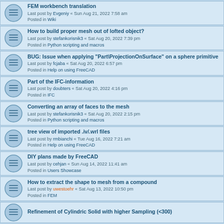FEM workbench translation
Last post by Evgeniy « Sun Aug 21, 2022 7:58 am
Posted in Wiki
How to build proper mesh out of lofted object?
Last post by stefankorisnik3 « Sat Aug 20, 2022 7:39 pm
Posted in Python scripting and macros
BUG: Issue when applying "Part\ProjectionOnSurface" on a sphere primitive
Last post by fcjaba « Sat Aug 20, 2022 6:57 pm
Posted in Help on using FreeCAD
Part of the IFC-information
Last post by doubters « Sat Aug 20, 2022 4:16 pm
Posted in IFC
Converting an array of faces to the mesh
Last post by stefankorisnik3 « Sat Aug 20, 2022 2:15 pm
Posted in Python scripting and macros
tree view of imported .iv/.wrl files
Last post by rmbianchi « Tue Aug 16, 2022 7:21 am
Posted in Help on using FreeCAD
DIY plans made by FreeCAD
Last post by cehjan « Sun Aug 14, 2022 11:41 am
Posted in Users Showcase
How to extract the shape to mesh from a compound
Last post by uwestoehr « Sat Aug 13, 2022 10:50 pm
Posted in FEM
Refinement of Cylindric Solid with higher Sampling (<300)